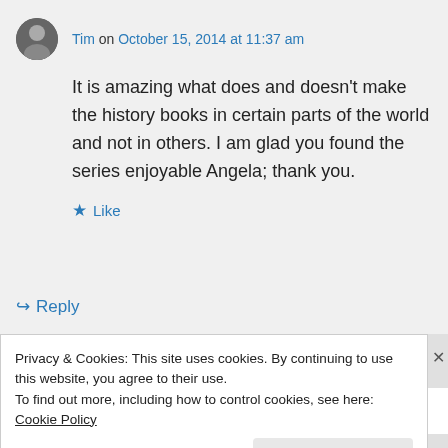Tim on October 15, 2014 at 11:37 am
It is amazing what does and doesn't make the history books in certain parts of the world and not in others. I am glad you found the series enjoyable Angela; thank you.
★ Like
↳ Reply
Privacy & Cookies: This site uses cookies. By continuing to use this website, you agree to their use.
To find out more, including how to control cookies, see here: Cookie Policy
Close and accept